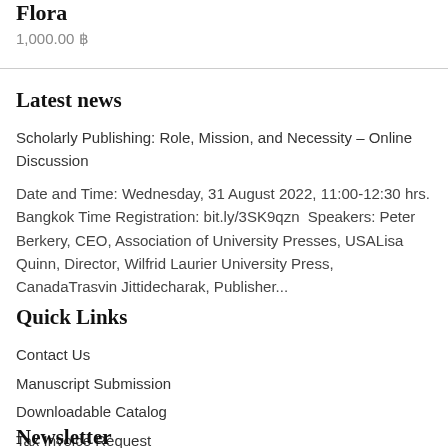Flora
1,000.00 ฿
Latest news
Scholarly Publishing: Role, Mission, and Necessity – Online Discussion
Date and Time: Wednesday, 31 August 2022, 11:00-12:30 hrs. Bangkok Time Registration: bit.ly/3SK9qzn  Speakers: Peter Berkery, CEO, Association of University Presses, USALisa Quinn, Director, Wilfrid Laurier University Press, CanadaTrasvin Jittidecharak, Publisher...
Quick Links
Contact Us
Manuscript Submission
Downloadable Catalog
Tax Invoice Request
Newsletter